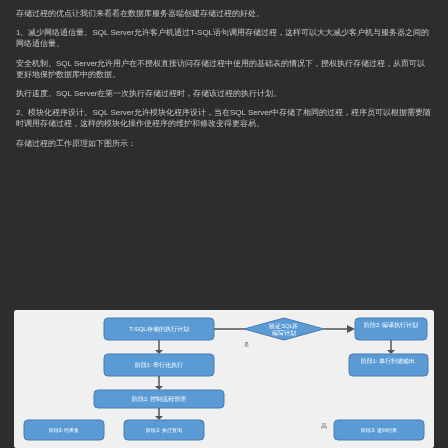存储过程的优点让我们来看看在数据库服务器端创建存储过程的好处。
1、减少网络通信量。SQL Server允许客户机通过T-SQL语句调用存储过程，这样可以大大减少客户机与服务器之间的网络通信量。
安全机制。SQL Server允许用户在不授权直接访问存储过程中使用的基础表的情况下，授权执行存储过程，从而可以更好地保护数据库中的数据。
执行速度。SQL Server在第一次执行存储过程时，存储该过程的执行计划。
2、模块化程序设计。SQL Server允许模块化程序设计，当在SQL Server中存储了相同的过程，程序员可以根据需要随时调用存储过程，这样的模块化操作使程序的维护和修改变得更容易。
存储过程的工作原理如下图所示：
[Figure (flowchart): T-SQL存储过程execution flowchart showing stages: T-SQL存储的执行计划, 阶段1: 串行化执行, with decision diamond and parallel branches showing 阶段2: 编译执行计划, 阶段1: 单行扫描输出, and lower nodes]